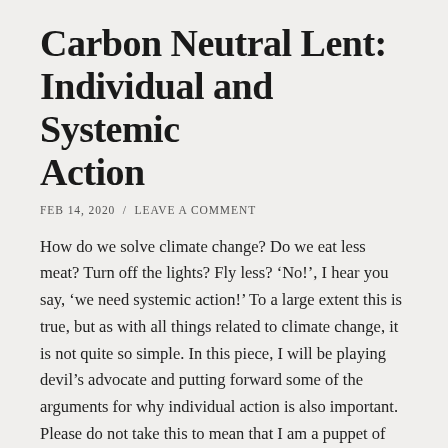Carbon Neutral Lent: Individual and Systemic Action
FEB 14, 2020  /  LEAVE A COMMENT
How do we solve climate change? Do we eat less meat? Turn off the lights? Fly less? ‘No!’, I hear you say, ‘we need systemic action!’ To a large extent this is true, but as with all things related to climate change, it is not quite so simple. In this piece, I will be playing devil’s advocate and putting forward some of the arguments for why individual action is also important. Please do not take this to mean that I am a puppet of the corporations.
Depending on who you ask, climate change is a policy